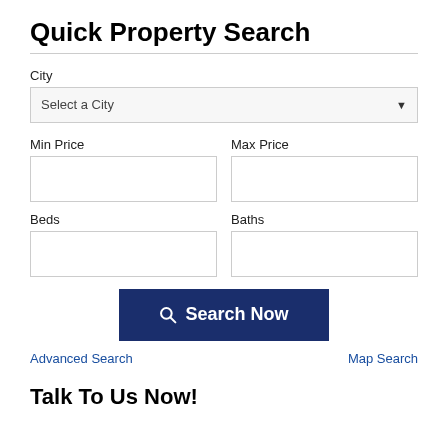Quick Property Search
City
Select a City
Min Price
Max Price
Beds
Baths
Search Now
Advanced Search
Map Search
Talk To Us Now!